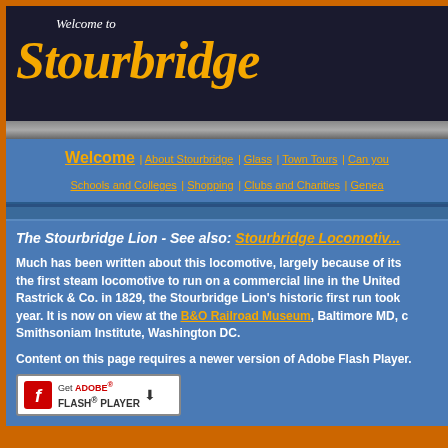Welcome to Stourbridge
Welcome | About Stourbridge | Glass | Town Tours | Can you... | Schools and Colleges | Shopping | Clubs and Charities | Genea...
The Stourbridge Lion - See also: Stourbridge Locomotiv...
Much has been written about this locomotive, largely because of its being the first steam locomotive to run on a commercial line in the United... Rastrick & Co. in 1829, the Stourbridge Lion's historic first run took... year. It is now on view at the B&O Railroad Museum, Baltimore MD, c... Smithsoniam Institute, Washington DC.
Content on this page requires a newer version of Adobe Flash Player.
[Figure (logo): Get Adobe Flash Player badge with red Flash icon and download arrow]